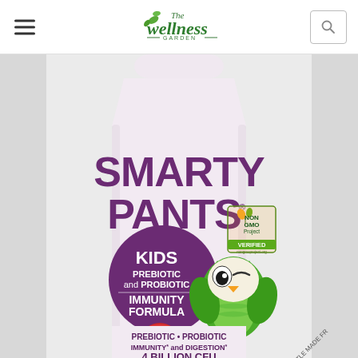[Figure (screenshot): Website header/navigation bar for 'The Wellness Garden' with hamburger menu icon on the left, centered logo with green leaf design, and search icon on the right]
[Figure (photo): SmartyPants Kids Prebiotic and Probiotic Immunity Formula supplement bottle. White/pink bottle with purple 'SMARTY PANTS' branding, purple circle with 'KIDS PREBIOTIC and PROBIOTIC IMMUNITY FORMULA' text, cartoon green owl mascot, Non-GMO Project Verified badge, red gummy candy, and bottom text reading 'PREBIOTIC • PROBIOTIC IMMUNITY* and DIGESTION* 4 BILLION CFU']